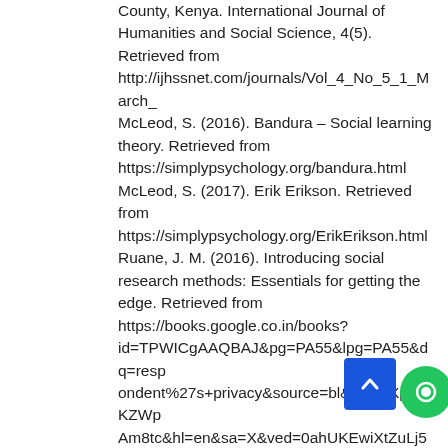County, Kenya. International Journal of Humanities and Social Science, 4(5). Retrieved from http://ijhssnet.com/journals/Vol_4_No_5_1_March_ McLeod, S. (2016). Bandura – Social learning theory. Retrieved from https://simplypsychology.org/bandura.html McLeod, S. (2017). Erik Erikson. Retrieved from https://simplypsychology.org/ErikErikson.html Ruane, J. M. (2016). Introducing social research methods: Essentials for getting the edge. Retrieved from https://books.google.co.in/books?id=TPWICgAAQBAJ&pg=PA55&lpg=PA55&dq=respondent%27s+privacy&source=bl&ots=uXpfipKZWpAm8tc&hl=en&sa=X&ved=0ahUKEwiXtZuLj53YAhVAU#v=onepage&q=respondent's%20privacy&f=false Steinberg, L. (2014). Age of opportunity: Lessons from the new science of